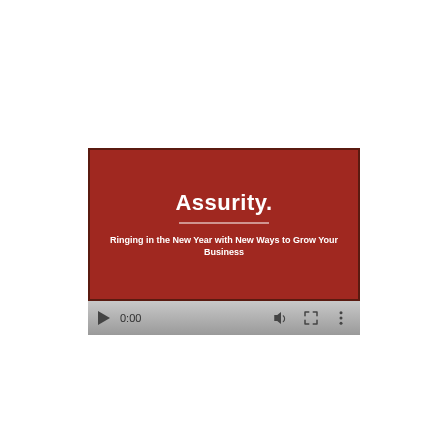[Figure (screenshot): Video thumbnail showing Assurity logo on red background with subtitle 'Ringing in the New Year with New Ways to Grow Your Business', with video player controls bar at bottom showing play button, 0:00 timestamp, volume, fullscreen, and menu icons.]